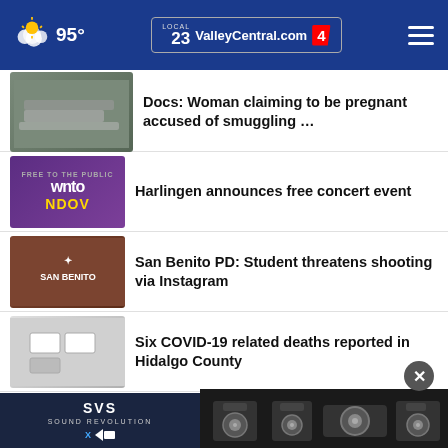95° ValleyCentral.com 23 4
Docs: Woman claiming to be pregnant accused of smuggling …
Harlingen announces free concert event
San Benito PD: Student threatens shooting via Instagram
Six COVID-19 related deaths reported in Hidalgo County
LIST: Valley cities offering sandbags ahead of weekend …
[Figure (screenshot): Advertisement banner for SVS Sound Revolution speakers with speaker product images]